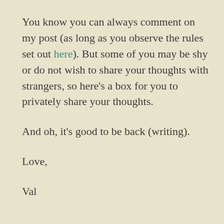You know you can always comment on my post (as long as you observe the rules set out here). But some of you may be shy or do not wish to share your thoughts with strangers, so here's a box for you to privately share your thoughts.
And oh, it's good to be back (writing).
Love,
Val